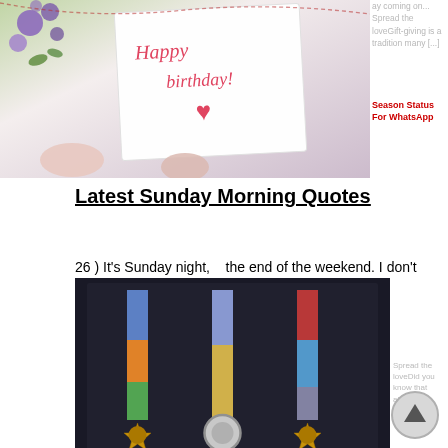[Figure (photo): Birthday card with 'Happy Birthday!' text and heart, surrounded by flowers and decorative items on white background]
ay coming on... Spread the loveGift-giving is a tradition many [...]
Season Status For WhatsApp
Latest Sunday Morning Quotes
26 ) It's Sunday night, the end of the weekend. I don't se when I wake up it will be kend's over.
[Figure (photo): Military medals and ribbons displayed against a dark background]
Spread the loveDid you know that almost 20 million [...]
he people who crowd the streets,
28 ) Loves Sundays and being lazy... Then Monday crazy!!!
[Figure (photo): Wedding rings with pink ribbon bow and crystal heart decoration on white fluffy background]
really enjoyed the time we spent Spread the loveAccording to a ple days. I'm sorry you had to survey conducted by [...] ist know that you'll be on my